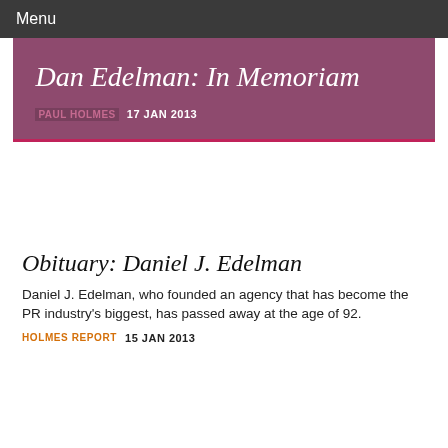Menu
Dan Edelman: In Memoriam
PAUL HOLMES  17 JAN 2013
Obituary: Daniel J. Edelman
Daniel J. Edelman, who founded an agency that has become the PR industry's biggest, has passed away at the age of 92.
HOLMES REPORT  15 JAN 2013